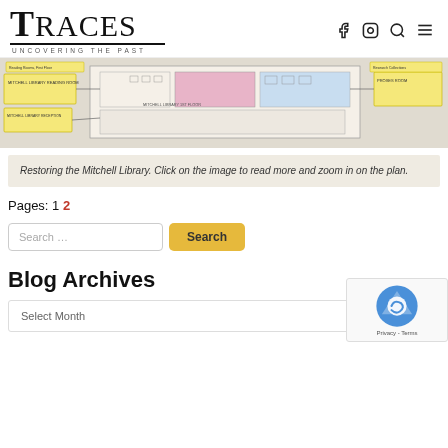TRACES · Uncovering the Past
[Figure (illustration): Floor plan/map diagram of Mitchell Library showing room layouts with labeled areas in yellow and blue callout boxes, with pink and blue highlighted sections on the architectural floor plan.]
Restoring the Mitchell Library. Click on the image to read more and zoom in on the plan.
Pages: 1 2
Search …
Blog Archives
Select Month